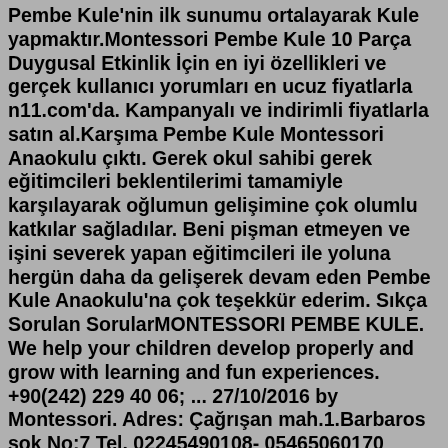Pembe Kule'nin ilk sunumu ortalayarak Kule yapmaktır.Montessori Pembe Kule 10 Parça Duygusal Etkinlik İçin en iyi özellikleri ve gerçek kullanıcı yorumları en ucuz fiyatlarla n11.com'da. Kampanyalı ve indirimli fiyatlarla satın al.Karşıma Pembe Kule Montessori Anaokulu çıktı. Gerek okul sahibi gerek eğitimcileri beklentilerimi tamamiyle karşılayarak oğlumun gelişimine çok olumlu katkılar sağladılar. Beni pişman etmeyen ve işini severek yapan eğitimcileri ile yoluna hergün daha da gelişerek devam eden Pembe Kule Anaokulu'na çok teşekkür ederim. Sıkça Sorulan SorularMONTESSORI PEMBE KULE. We help your children develop properly and grow with learning and fun experiences. +90(242) 229 40 06; ... 27/10/2016 by Montessori. Adres: Çağrışan mah.1.Barbaros sok No:7 Tel. 02245490108- 05465060170 www.pembekule.com çağrışan mah. 1.barbaros sok. No 7, Bursa, Bursa Province, Turkey Montessori eğitiminin ülkemiz çocuklarına doğru sunulmasına katkıda bulunmak ve Türkiye'de uluslararası standartlarda bir Montessori